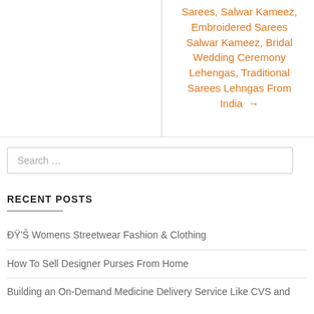Sarees, Salwar Kameez, Embroidered Sarees Salwar Kameez, Bridal Wedding Ceremony Lehengas, Traditional Sarees Lehngas From India →
Search ...
RECENT POSTS
🛍 Womens Streetwear Fashion & Clothing
How To Sell Designer Purses From Home
Building an On-Demand Medicine Delivery Service Like CVS and